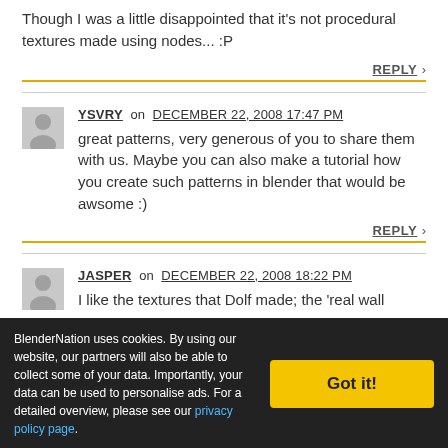Though I was a little disappointed that it's not procedural textures made using nodes... :P
REPLY >
YSVRY on DECEMBER 22, 2008 17:47 PM
great patterns, very generous of you to share them with us. Maybe you can also make a tutorial how you create such patterns in blender that would be awsome :)
REPLY >
JASPER on DECEMBER 22, 2008 18:22 PM
I like the textures that Dolf made; the 'real wall
BlenderNation uses cookies. By using our website, our partners will also be able to collect some of your data. Importantly, your data can be used to personalise ads. For a detailed overview, please see our privacy policy page.
Got it!